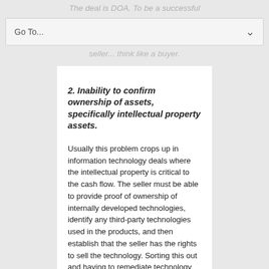The deal is DOA. To be a successful seller... think like a buyer.
2. Inability to confirm ownership of assets, specifically intellectual property assets.
Usually this problem crops up in information technology deals where the intellectual property is critical to the cash flow. The seller must be able to provide proof of ownership of internally developed technologies, identify any third-party technologies used in the products, and then establish that the seller has the rights to sell the technology. Sorting this out and having to remediate technology differences can be very time consuming. If the buyer smells any risk here, boom—goodbye deal.
Conduct an intellectual property audit